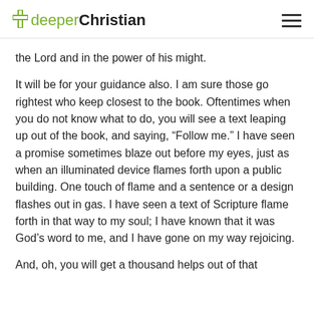deeperChristian
the Lord and in the power of his might.
It will be for your guidance also. I am sure those go rightest who keep closest to the book. Oftentimes when you do not know what to do, you will see a text leaping up out of the book, and saying, “Follow me.” I have seen a promise sometimes blaze out before my eyes, just as when an illuminated device flames forth upon a public building. One touch of flame and a sentence or a design flashes out in gas. I have seen a text of Scripture flame forth in that way to my soul; I have known that it was God’s word to me, and I have gone on my way rejoicing.
And, oh, you will get a thousand helps out of that